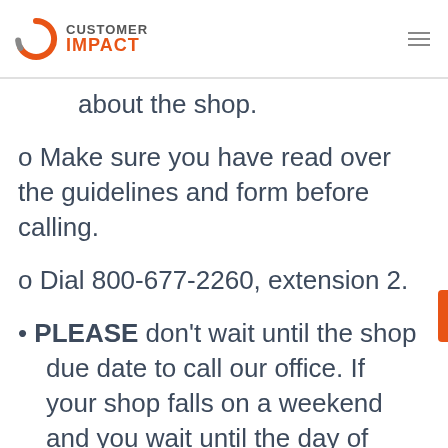CUSTOMER IMPACT
about the shop.
o Make sure you have read over the guidelines and form before calling.
o Dial 800-677-2260, extension 2.
PLEASE don't wait until the shop due date to call our office. If your shop falls on a weekend and you wait until the day of